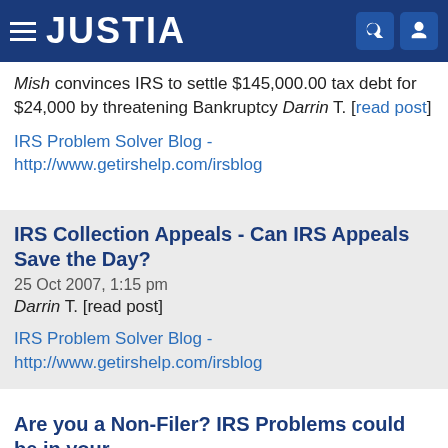JUSTIA
Mish convinces IRS to settle $145,000.00 tax debt for $24,000 by threatening Bankruptcy Darrin T. [read post]
IRS Problem Solver Blog - http://www.getirshelp.com/irsblog
IRS Collection Appeals - Can IRS Appeals Save the Day?
25 Oct 2007, 1:15 pm
Darrin T. [read post]
IRS Problem Solver Blog - http://www.getirshelp.com/irsblog
Are you a Non-Filer? IRS Problems could be in your